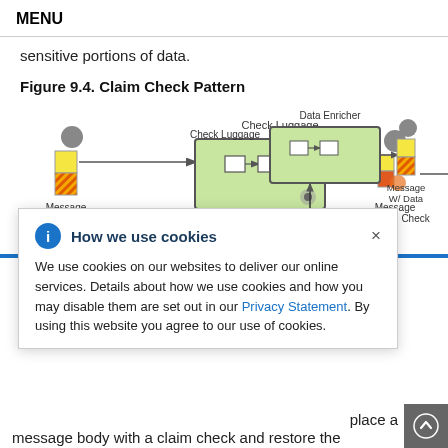MENU
sensitive portions of data.
Figure 9.4. Claim Check Pattern
[Figure (flowchart): Claim Check Pattern flowchart showing Message W/ Data going into Check Luggage process, then to Message w/ Claim Check, then to Data Enricher, then back to Message W/ Data. Arrows connect the steps with gray circles at start/end points.]
How we use cookies — We use cookies on our websites to deliver our online services. Details about how we use cookies and how you may disable them are set out in our Privacy Statement. By using this website you agree to our use of cookies.
place a
message body with a claim check and restore the